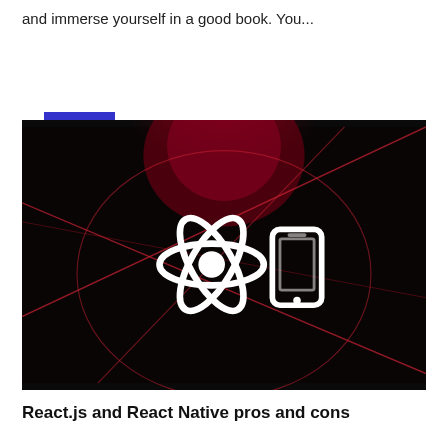and immerse yourself in a good book. You...
READ MORE »
[Figure (illustration): Dark background with red geometric lines forming intersecting curves and an atom symbol alongside a mobile phone icon, representing React Native technology]
React.js and React Native pros and cons